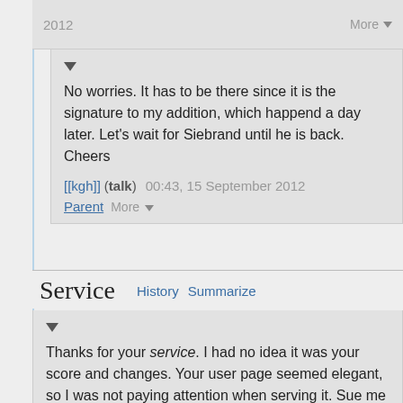2012
More
No worries. It has to be there since it is the signature to my addition, which happend a day later. Let's wait for Siebrand until he is back. Cheers
[[kgh]] (talk) 00:43, 15 September 2012
Parent  More
Service
History
Summarize
Thanks for your service. I had no idea it was your score and changes. Your user page seemed elegant, so I was not paying attention when serving it. Sue me